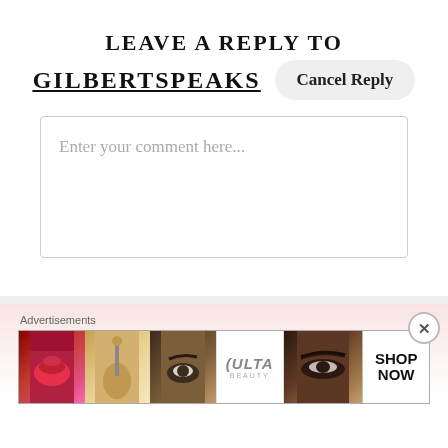LEAVE A REPLY TO GILBERTSPEAKS
Cancel Reply
Enter your comment here...
[Figure (screenshot): Advertisement banner for ULTA Beauty showing makeup images: red lips, makeup brush, eye with eyebrow, ULTA beauty logo, eyes with brows, and SHOP NOW text]